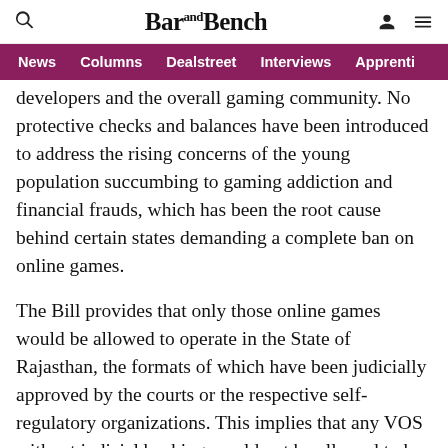Bar and Bench
News | Columns | Dealstreet | Interviews | Apprenti
developers and the overall gaming community. No protective checks and balances have been introduced to address the rising concerns of the young population succumbing to gaming addiction and financial frauds, which has been the root cause behind certain states demanding a complete ban on online games.
The Bill provides that only those online games would be allowed to operate in the State of Rajasthan, the formats of which have been judicially approved by the courts or the respective self-regulatory organizations. This implies that any VOS without judicial backing would not be allowed to be operated, irrespective of it being a game of skill. In the backdrop of judicial precedents legalizing typically all kinds of games of